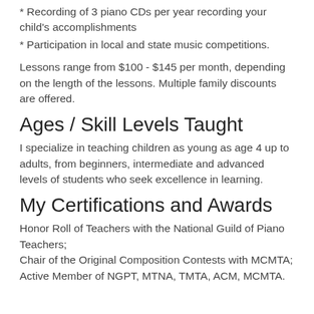* Recording of 3 piano CDs per year recording your child's accomplishments
* Participation in local and state music competitions.
Lessons range from $100 - $145 per month, depending on the length of the lessons. Multiple family discounts are offered.
Ages / Skill Levels Taught
I specialize in teaching children as young as age 4 up to adults, from beginners, intermediate and advanced levels of students who seek excellence in learning.
My Certifications and Awards
Honor Roll of Teachers with the National Guild of Piano Teachers;
Chair of the Original Composition Contests with MCMTA;
Active Member of NGPT, MTNA, TMTA, ACM, MCMTA.